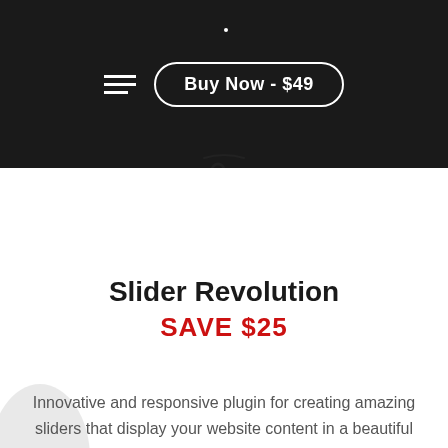[Figure (screenshot): Dark navigation bar with hamburger menu icon and a pill-shaped 'Buy Now - $49' button on black background]
[Figure (illustration): Hand/cursor pointer icon clicking on the button, shown in outline style]
Slider Revolution
SAVE $25
Innovative and responsive plugin for creating amazing sliders that display your website content in a beautiful way.